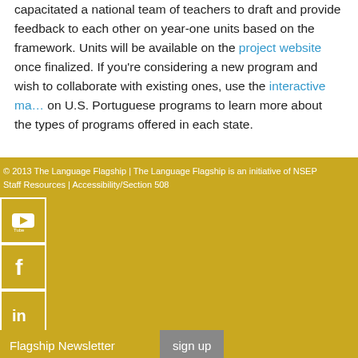capacitated a national team of teachers to draft and provide feedback to each other on year-one units based on the framework. Units will be available on the project website once finalized. If you're considering a new program and wish to collaborate with existing ones, use the interactive map on U.S. Portuguese programs to learn more about the types of programs offered in each state.
© 2013 The Language Flagship | The Language Flagship is an initiative of NSEP Staff Resources | Accessibility/Section 508
[Figure (other): Social media icons: YouTube, Facebook, LinkedIn on gold background]
Flagship Newsletter  sign up